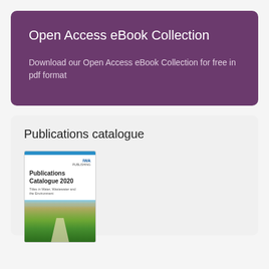Open Access eBook Collection
Download our Open Access eBook Collection for free in pdf format
Publications catalogue
[Figure (illustration): Cover of the IWA Publications Catalogue 2020, showing bold title text over an image of terraced agricultural fields with a road and mountains. Subtitle reads: Titles in Water, Wastewater and the Environment.]